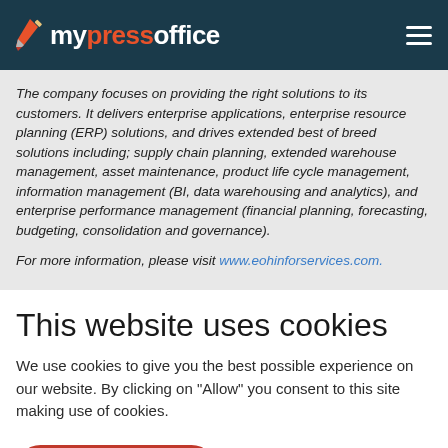mypressoffice
The company focuses on providing the right solutions to its customers. It delivers enterprise applications, enterprise resource planning (ERP) solutions, and drives extended best of breed solutions including; supply chain planning, extended warehouse management, asset maintenance, product life cycle management, information management (BI, data warehousing and analytics), and enterprise performance management (financial planning, forecasting, budgeting, consolidation and governance).
For more information, please visit www.eohinforservices.com.
This website uses cookies
We use cookies to give you the best possible experience on our website. By clicking on "Allow" you consent to this site making use of cookies.
Allow